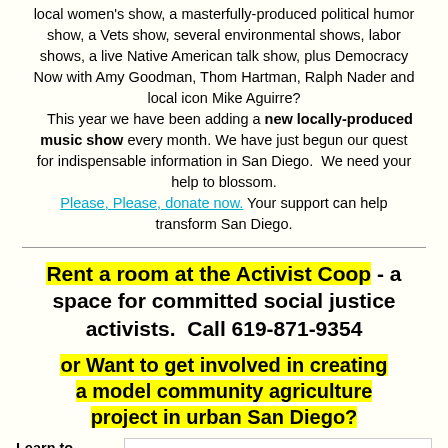local women's show, a masterfully-produced political humor show, a Vets show, several environmental shows, labor shows, a live Native American talk show, plus Democracy Now with Amy Goodman, Thom Hartman, Ralph Nader and local icon Mike Aguirre? This year we have been adding a new locally-produced music show every month. We have just begun our quest for indispensable information in San Diego. We need your help to blossom. Please, Please, donate now. Your support can help transform San Diego.
Rent a room at the Activist Coop - a space for committed social justice activists.  Call 619-871-9354
or Want to get involved in creating a model community agriculture project in urban San Diego?
Learn to grow and live
[Figure (photo): Image placeholder in a white box]